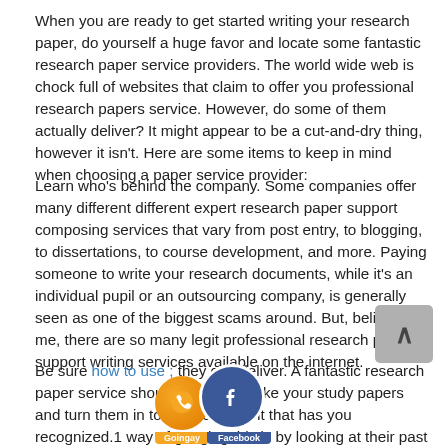When you are ready to get started writing your research paper, do yourself a huge favor and locate some fantastic research paper service providers. The world wide web is chock full of websites that claim to offer you professional research papers service. However, do some of them actually deliver? It might appear to be a cut-and-dry thing, however it isn't. Here are some items to keep in mind when choosing a paper service provider:
Learn who's behind the company. Some companies offer many different different expert research paper support composing services that vary from post entry, to blogging, to dissertations, to course development, and more. Paying someone to write your research documents, while it's an individual pupil or an outsourcing company, is generally seen as one of the biggest scams around. But, believe me, there are so many legit professional research paper support writing services available on the internet.
Be sure how to use ; they can deliver. A fantastic research paper service should be able to take your study papers and turn them in to an assignment that has you recognized.1 way of gauging this is by looking at their past success rate. An obviously prosperous firm would not only have written hundreds of papers, but they would have been successful because they get results.
[Figure (infographic): Social media icons: orange Viber/Goingay circle and blue Facebook circle with labels, overlaid on the text. Also a grey back-to-top button with upward caret arrow.]